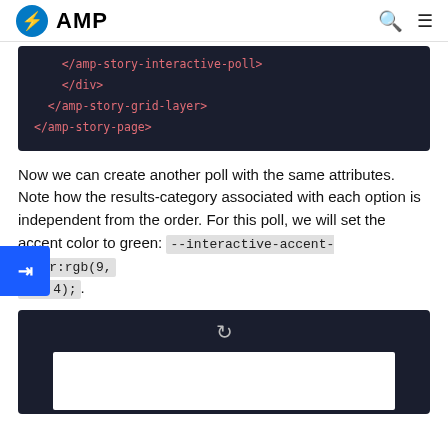AMP
[Figure (screenshot): Dark code block showing HTML closing tags: </amp-story-interactive-poll>, </div>, </amp-story-grid-layer>, </amp-story-page>]
Now we can create another poll with the same attributes. Note how the results-category associated with each option is independent from the order. For this poll, we will set the accent color to green: --interactive-accent-color:rgb(9, 63, 4);.
[Figure (screenshot): Dark demo block with a reload icon and a white inner panel at the bottom]